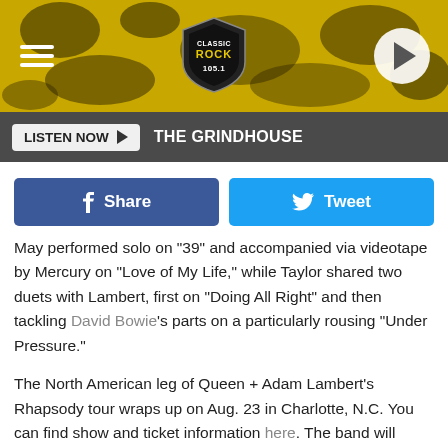[Figure (screenshot): Classic Rock 105.1 radio station header banner with yellow grunge background, hamburger menu icon on left, Classic Rock 105.1 shield logo in center, and circular play button on right]
LISTEN NOW ▶   THE GRINDHOUSE
Share   Tweet
May performed solo on "39" and accompanied via videotape by Mercury on "Love of My Life," while Taylor shared two duets with Lambert, first on "Doing All Right" and then tackling David Bowie's parts on a particularly rousing "Under Pressure."

The North American leg of Queen + Adam Lambert's Rhapsody tour wraps up on Aug. 23 in Charlotte, N.C. You can find show and ticket information here. The band will headline the Global Citizen Festival in New York City's Central Park on Sept. 28.